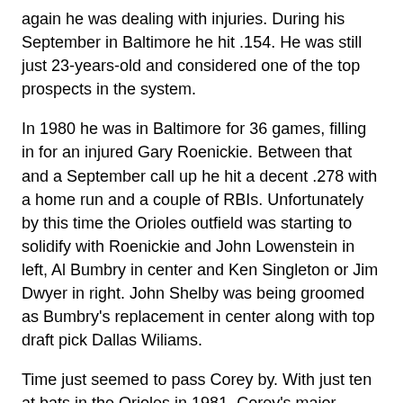again he was dealing with injuries. During his September in Baltimore he hit .154. He was still just 23-years-old and considered one of the top prospects in the system.
In 1980 he was in Baltimore for 36 games, filling in for an injured Gary Roenickie. Between that and a September call up he hit a decent .278 with a home run and a couple of RBIs. Unfortunately by this time the Orioles outfield was starting to solidify with Roenickie and John Lowenstein in left, Al Bumbry in center and Ken Singleton or Jim Dwyer in right. John Shelby was being groomed as Bumbry's replacement in center along with top draft pick Dallas Wiliams.
Time just seemed to pass Corey by. With just ten at bats in the Orioles in 1981, Corey's major league career would end. He spent some more time in the minors and a few games in Japan before calling it a career in 1987.
By 1982 Topps had moved on to a few different prospects to put on their card. Perhaps you recognize one of them.